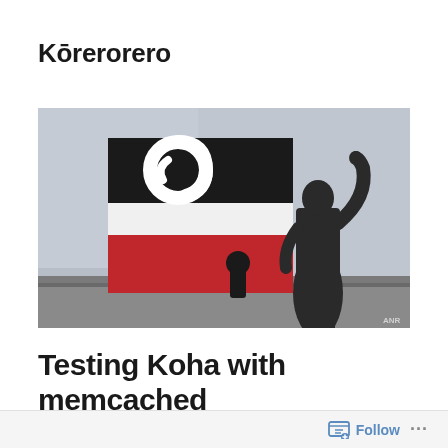Kōrerorero
[Figure (photo): A silhouette of a statue with one arm raised against a grey overcast sky, with a Māori Tino Rangatiratanga flag (black, white, and red with a koru symbol) flying in the foreground on a building rooftop.]
Testing Koha with memcached
Follow ...